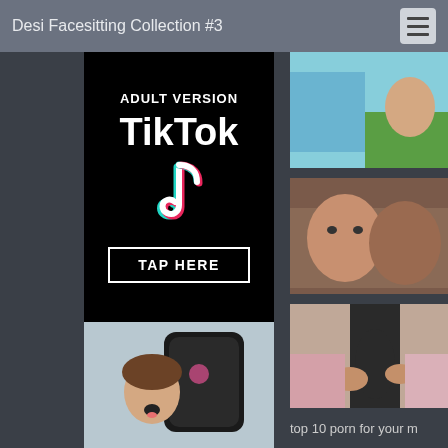Desi Facesitting Collection #3
[Figure (advertisement): Adult TikTok advertisement banner with TikTok logo, music note icon, and TAP HERE button on black background]
[Figure (photo): Person sitting in gaming chair with mouth open, tongue out]
[Figure (photo): Thumbnail image with light blue rectangle and partial figure on grass]
[Figure (photo): Two people close together facing camera]
[Figure (photo): Close up photo with hands and pink clothing]
top 10 porn for your m